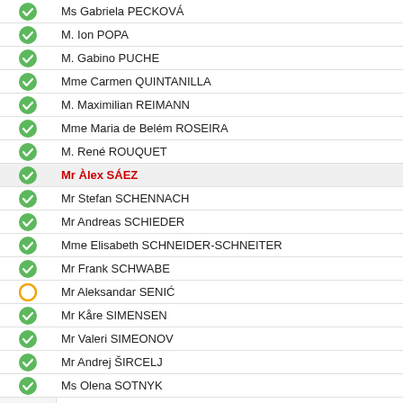Ms Gabriela PECKOVÁ
M. Ion POPA
M. Gabino PUCHE
Mme Carmen QUINTANILLA
M. Maximilian REIMANN
Mme Maria de Belém ROSEIRA
M. René ROUQUET
Mr Àlex SÁEZ
Mr Stefan SCHENNACH
Mr Andreas SCHIEDER
Mme Elisabeth SCHNEIDER-SCHNEITER
Mr Frank SCHWABE
Mr Aleksandar SENIĆ
Mr Kåre SIMENSEN
Mr Valeri SIMEONOV
Mr Andrej ŠIRCELJ
Ms Olena SOTNYK